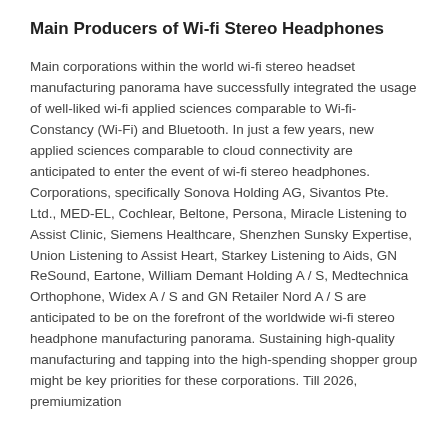Main Producers of Wi-fi Stereo Headphones
Main corporations within the world wi-fi stereo headset manufacturing panorama have successfully integrated the usage of well-liked wi-fi applied sciences comparable to Wi-fi-Constancy (Wi-Fi) and Bluetooth. In just a few years, new applied sciences comparable to cloud connectivity are anticipated to enter the event of wi-fi stereo headphones. Corporations, specifically Sonova Holding AG, Sivantos Pte. Ltd., MED-EL, Cochlear, Beltone, Persona, Miracle Listening to Assist Clinic, Siemens Healthcare, Shenzhen Sunsky Expertise, Union Listening to Assist Heart, Starkey Listening to Aids, GN ReSound, Eartone, William Demant Holding A / S, Medtechnica Orthophone, Widex A / S and GN Retailer Nord A / S are anticipated to be on the forefront of the worldwide wi-fi stereo headphone manufacturing panorama. Sustaining high-quality manufacturing and tapping into the high-spending shopper group might be key priorities for these corporations. Till 2026, premiumization